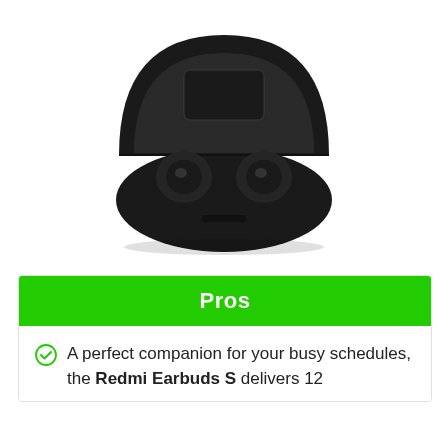[Figure (photo): Black Redmi Earbuds S true wireless earbuds shown in their open charging case, with both earbuds seated in the case. The case is round and black.]
Pros
A perfect companion for your busy schedules, the Redmi Earbuds S delivers 12